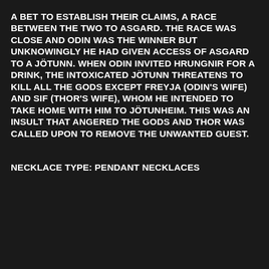A BET TO ESTABLISH THEIR CLAIMS, A RACE BETWEEN THE TWO TO ASGARD. THE RACE WAS CLOSE AND ODIN WAS THE WINNER BUT UNKNOWINGLY HE HAD GIVEN ACCESS OF ASGARD TO A JÖTUNN. WHEN ODIN INVITED HRUNGNIR FOR A DRINK, THE INTOXICATED JÖTUNN THREATENS TO KILL ALL THE GODS EXCEPT FREYJA (ODIN'S WIFE) AND SIF (THOR'S WIFE), WHOM HE INTENDED TO TAKE HOME WITH HIM TO JÖTUNHEIM. THIS WAS AN INSULT THAT ANGERED THE GODS AND THOR WAS CALLED UPON TO REMOVE THE UNWANTED GUEST.
NECKLACE TYPE: PENDANT NECKLACES